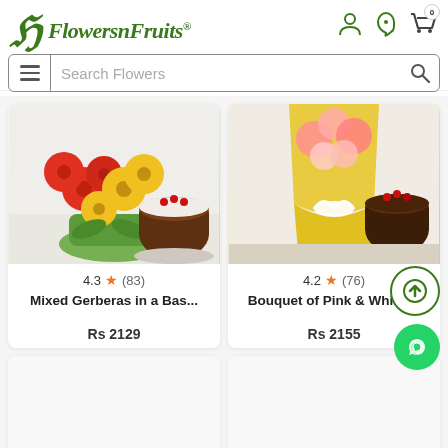[Figure (logo): FlowersnFruits logo with green stylized 'F' icon and green italic script text 'FlowersnFruits®']
[Figure (screenshot): Search bar with hamburger menu icon on left and search magnifier icon on right, placeholder text 'Search Flowers']
[Figure (photo): Product image: Mixed gerbera flowers in a basket with a black forest cake]
4.3 ★ (83)
Mixed Gerberas in a Bas...
Rs 2129
[Figure (photo): Product image: Bouquet of pink and white flowers wrapped in yellow paper with a chocolate cake]
4.2 ★ (76)
Bouquet of Pink & White ...
Rs 2155
[Figure (photo): Partial product card bottom left - white/light background, product not fully visible]
[Figure (photo): Partial product card bottom right - white/light background, product not fully visible]